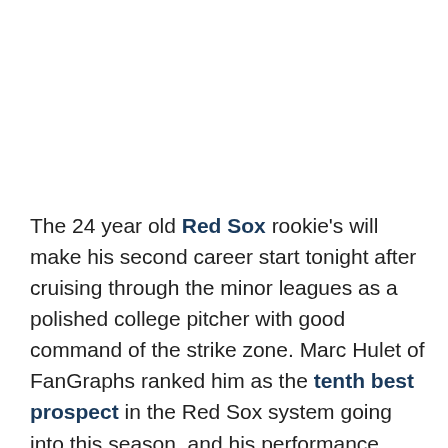The 24 year old Red Sox rookie's will make his second career start tonight after cruising through the minor leagues as a polished college pitcher with good command of the strike zone. Marc Hulet of FanGraphs ranked him as the tenth best prospect in the Red Sox system going into this season, and his performance, other than a small sample size risen walk rate in triple-A, has probably improved his prospect stock.